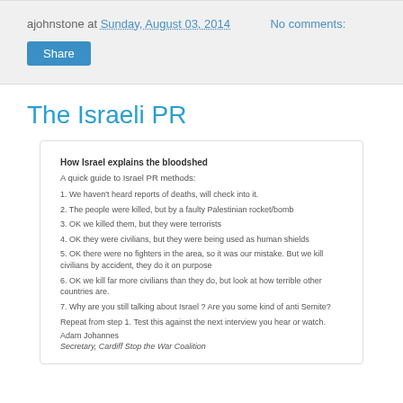ajohnstone at Sunday, August 03, 2014    No comments:
The Israeli PR
[Figure (screenshot): A card/box containing text with heading 'How Israel explains the bloodshed', a quick guide to Israel PR methods numbered 1-7, and closing lines by Adam Johannes, Secretary, Cardiff Stop the War Coalition.]